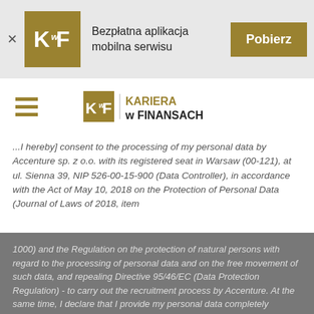[Figure (logo): KwF logo banner with gold square logo, text 'Bezpłatna aplikacja mobilna serwisu', and gold 'Pobierz' button]
[Figure (logo): KwF Kariera w Finansach navigation bar with hamburger menu and center logo]
...I hereby] consent to the processing of my personal data by Accenture sp. z o.o. with its registered seat in Warsaw (00-121), at ul. Sienna 39, NIP 526-00-15-900 (Data Controller), in accordance with the Act of May 10, 2018 on the Protection of Personal Data (Journal of Laws of 2018, item
1000) and the Regulation on the protection of natural persons with regard to the processing of personal data and on the free movement of such data, and repealing Directive 95/46/EC (Data Protection Regulation) - to carry out the recruitment process by Accenture. At the same time, I declare that I provide my personal data completely voluntary. I also declare that I have been informed about my right to ...
Witryna KarierawFinansach.pl wykorzystuje pliki cookies. Korzystając z niej, akceptujesz postanowienia naszej polityki prywatności.
Akceptuję